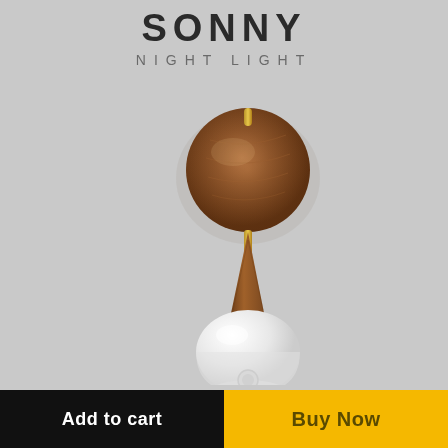SONNY NIGHT LIGHT
[Figure (photo): A wall-mounted night light called SONNY with a circular walnut wood backplate, a brass/gold stem, a wooden cone-shaped neck piece, and a white rounded teardrop-shaped light globe with a sensor, mounted on a light gray wall.]
Add to cart
Buy Now